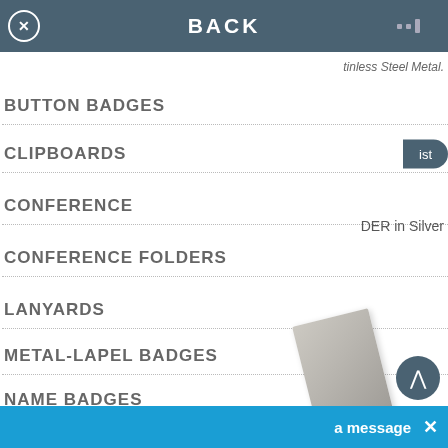BACK
tinless Steel Metal.
BUTTON BADGES
CLIPBOARDS
CONFERENCE
CONFERENCE FOLDERS
DER in Silver
LANYARDS
METAL-LAPEL BADGES
NAME BADGES
CONFERENCE & EXHIBITION
a message